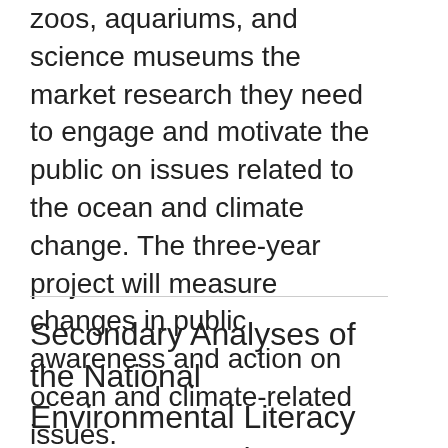zoos, aquariums, and science museums the market research they need to engage and motivate the public on issues related to the ocean and climate change. The three-year project will measure changes in public awareness and action on ocean and climate-related issues.
Show More ▼
Secondary Analyses of the National Environmental Literacy Assessment: Phase I & II Students, Teachers, Parents, and School S...